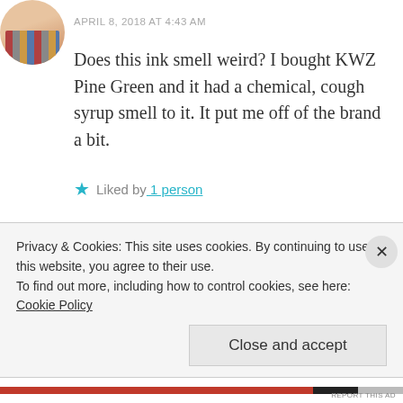[Figure (photo): Circular avatar image showing colored pencils/pens]
APRIL 8, 2018 AT 4:43 AM
Does this ink smell weird? I bought KWZ Pine Green and it had a chemical, cough syrup smell to it. It put me off of the brand a bit.
★ Liked by 1 person
REPLY
Privacy & Cookies: This site uses cookies. By continuing to use this website, you agree to their use.
To find out more, including how to control cookies, see here: Cookie Policy
Close and accept